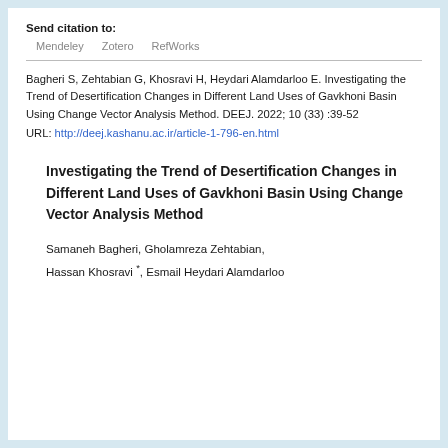Send citation to:
Mendeley   Zotero   RefWorks
Bagheri S, Zehtabian G, Khosravi H, Heydari Alamdarloo E. Investigating the Trend of Desertification Changes in Different Land Uses of Gavkhoni Basin Using Change Vector Analysis Method. DEEJ. 2022; 10 (33) :39-52
URL: http://deej.kashanu.ac.ir/article-1-796-en.html
Investigating the Trend of Desertification Changes in Different Land Uses of Gavkhoni Basin Using Change Vector Analysis Method
Samaneh Bagheri, Gholamreza Zehtabian, Hassan Khosravi *, Esmail Heydari Alamdarloo